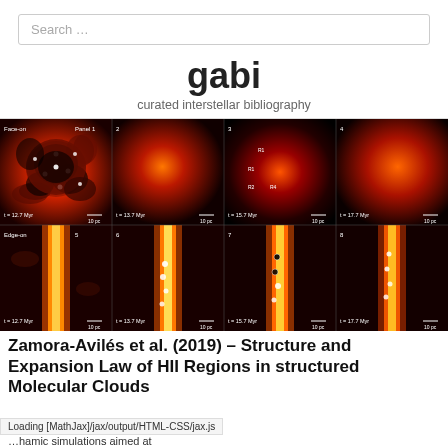Search …
gabi
curated interstellar bibliography
[Figure (photo): Grid of 8 astrophysical simulation panels showing face-on (panels 1-4) and edge-on (panels 5-8) views of molecular clouds at t=12.7, 13.7, 15.7, and 17.7 Myr. Images are false-color red/orange/black showing gas density and HII regions with markers labeled R1-R4. Each panel has a 10 pc scale bar.]
Zamora-Avilés et al. (2019) – Structure and Expansion Law of HII Regions in structured Molecular Clouds
Loading [MathJax]/jax/output/HTML-CSS/jax.js
…hamic simulations aimed at